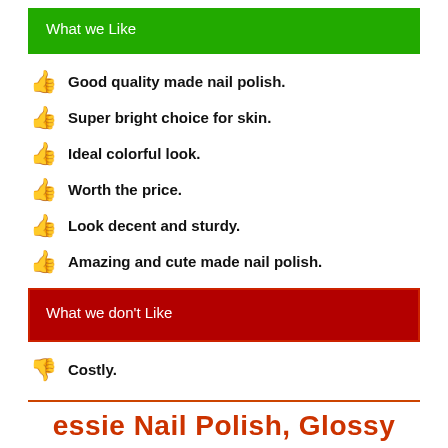What we Like
Good quality made nail polish.
Super bright choice for skin.
Ideal colorful look.
Worth the price.
Look decent and sturdy.
Amazing and cute made nail polish.
What we don't Like
Costly.
essie Nail Polish, Glossy